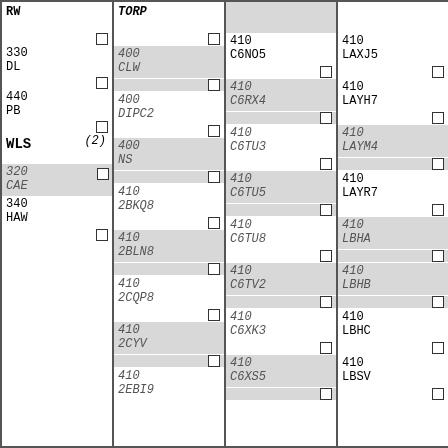| Col1 | Col2 | Col3 | Col4 |
| --- | --- | --- | --- |
| RW / 330 DL / 440 PB / WLS / (2) / 320 CAE / 340 HAW | TORP / 400 CLW / 400 DIPC2 / 400 NS / 410 2BKQ8 / 410 2BLN8 / 410 2CQP8 / 410 2CYV / 410 2EBI9 | 410 C6NO5 / 410 C6RX4 / 410 C6TU3 / 410 C6TU5 / 410 C6TU8 / 410 C6TV2 / 410 C6XK3 / 410 C6XS5 | 410 LAXJ5 / 410 LAYH7 / 410 LAYM4 / 410 LAYR7 / 410 LBHA / 410 LBHB / 410 LBHC / 410 LBSV |